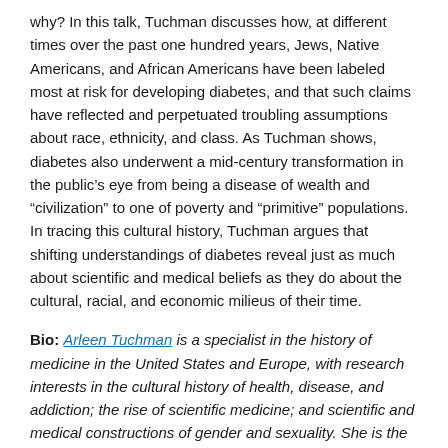why? In this talk, Tuchman discusses how, at different times over the past one hundred years, Jews, Native Americans, and African Americans have been labeled most at risk for developing diabetes, and that such claims have reflected and perpetuated troubling assumptions about race, ethnicity, and class. As Tuchman shows, diabetes also underwent a mid-century transformation in the public's eye from being a disease of wealth and “civilization” to one of poverty and “primitive” populations. In tracing this cultural history, Tuchman argues that shifting understandings of diabetes reveal just as much about scientific and medical beliefs as they do about the cultural, racial, and economic milieus of their time.
Bio: Arleen Tuchman is a specialist in the history of medicine in the United States and Europe, with research interests in the cultural history of health, disease, and addiction; the rise of scientific medicine; and scientific and medical constructions of gender and sexuality. She is the author of three books, the most recent being Diabetes: A History of Race and Disease (Yale University Press, 2020). She is currently working on a